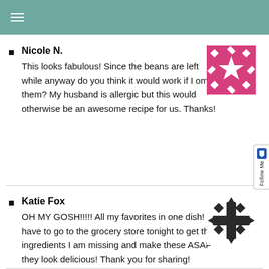≡
Nicole N.
This looks fabulous! Since the beans are left while anyway do you think it would work if I omit them? My husband is allergic but this would otherwise be an awesome recipe for us. Thanks!
Katie Fox
OH MY GOSH!!!!! All my favorites in one dish! I have to go to the grocery store tonight to get the ingredients I am missing and make these ASAP they look delicious! Thank you for sharing!